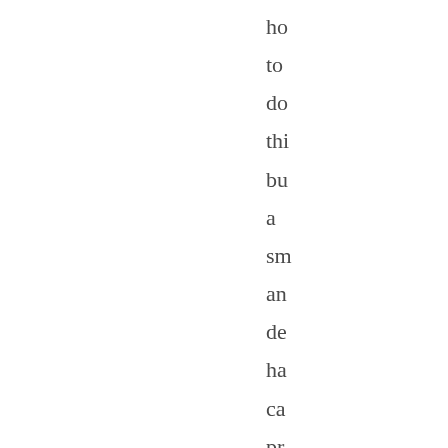ho to do thi bu a sm an de ha ca pr fin a wa to ac da